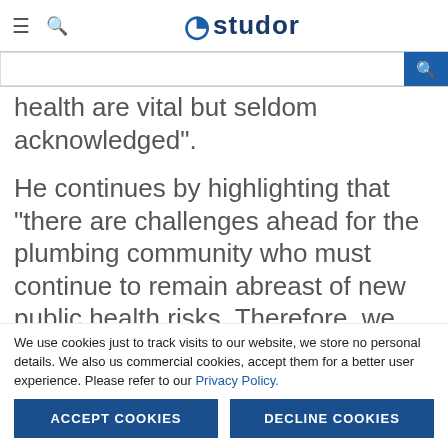≡ 🔍 Studor
health are vital but seldom acknowledged”.
He continues by highlighting that “there are challenges ahead for the plumbing community who must continue to remain abreast of new public health risks. Therefore, we the plumbing community, have a very
We use cookies just to track visits to our website, we store no personal details. We also us commercial cookies, accept them for a better user experience. Please refer to our Privacy Policy.
ACCEPT COOKIES
DECLINE COOKIES